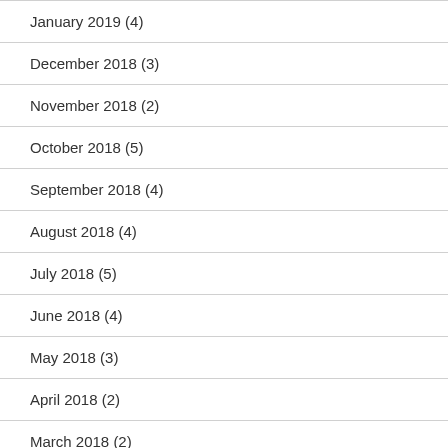January 2019 (4)
December 2018 (3)
November 2018 (2)
October 2018 (5)
September 2018 (4)
August 2018 (4)
July 2018 (5)
June 2018 (4)
May 2018 (3)
April 2018 (2)
March 2018 (2)